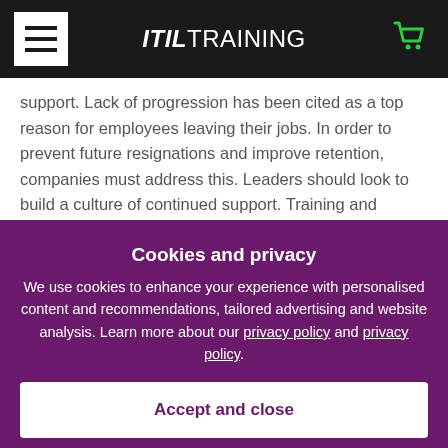ITIL TRAINING
support. Lack of progression has been cited as a top reason for employees leaving their jobs. In order to prevent future resignations and improve retention, companies must address this. Leaders should look to build a culture of continued support. Training and learning should be
Cookies and privacy
We use cookies to enhance your experience with personalised content and recommendations, tailored advertising and website analysis. Learn more about our privacy policy and privacy policy.
Accept and close
so important
There are no two ways about it, bad hires cost companies a fortune! Which is why focusing on reducing the recruitment